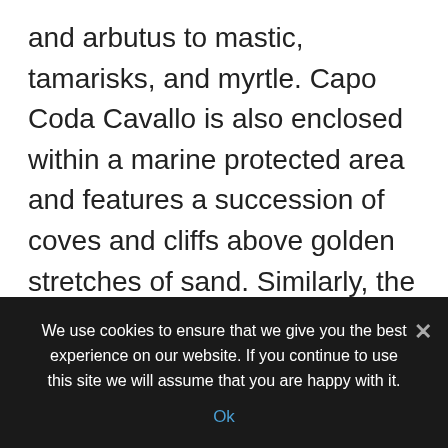and arbutus to mastic, tamarisks, and myrtle. Capo Coda Cavallo is also enclosed within a marine protected area and features a succession of coves and cliffs above golden stretches of sand. Similarly, the limestone cliffs on nearby islands such as Molara, Tavolara, and Proratora offer panoramic views and exceptional beauty. As you can see, there are many fascinating sights and experiences to encounter in Capo Coda Cavallo, not least of which is an opportunity to walk the ancient trails filled with junipers. And
We use cookies to ensure that we give you the best experience on our website. If you continue to use this site we will assume that you are happy with it. Ok